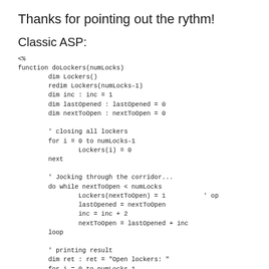Thanks for pointing out the rythm!
Classic ASP:
<%
function doLockers(numLocks)
        dim Lockers()
        redim Lockers(numLocks-1)
        dim inc : inc = 1
        dim lastOpened : lastOpened = 0
        dim nextToOpen : nextToOpen = 0

        ' closing all lockers
        for i = 0 to numLocks-1
                Lockers(i) = 0
        next

        ' Jocking through the corridor...
        do while nextToOpen < numLocks
                Lockers(nextToOpen) = 1          ' op
                lastOpened = nextToOpen
                inc = inc + 2
                nextToOpen = lastOpened + inc
        loop

        ' printing result
        dim ret : ret = "Open lockers: "
        for i = 0 to numLocks-1
                if Lockers(i) = 1 then
                        ret = ret & "
" & cstr(i+1)